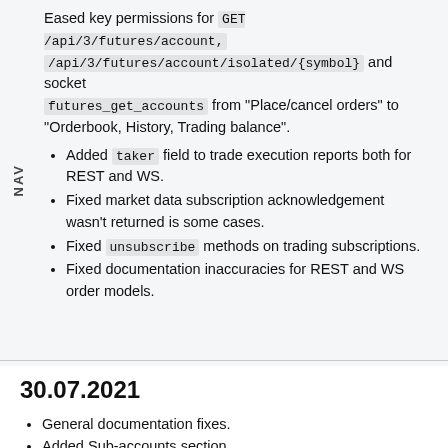Eased key permissions for GET /api/3/futures/account, /api/3/futures/account/isolated/{symbol} and socket futures_get_accounts from "Place/cancel orders" to "Orderbook, History, Trading balance".
Added taker field to trade execution reports both for REST and WS.
Fixed market data subscription acknowledgement wasn't returned is some cases.
Fixed unsubscribe methods on trading subscriptions.
Fixed documentation inaccuracies for REST and WS order models.
30.07.2021
General documentation fixes.
Added Sub-accounts section.
New endpoints for futures: